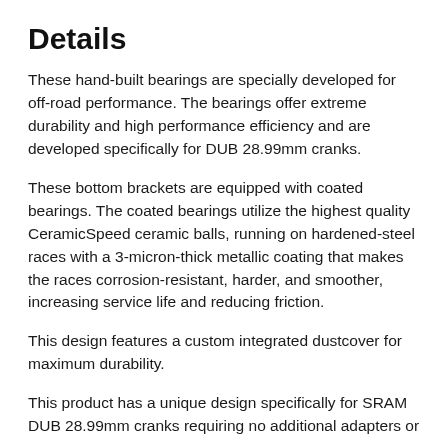Details
These hand-built bearings are specially developed for off-road performance. The bearings offer extreme durability and high performance efficiency and are developed specifically for DUB 28.99mm cranks.
These bottom brackets are equipped with coated bearings. The coated bearings utilize the highest quality CeramicSpeed ceramic balls, running on hardened-steel races with a 3-micron-thick metallic coating that makes the races corrosion-resistant, harder, and smoother, increasing service life and reducing friction.
This design features a custom integrated dustcover for maximum durability.
This product has a unique design specifically for SRAM DUB 28.99mm cranks requiring no additional adapters or